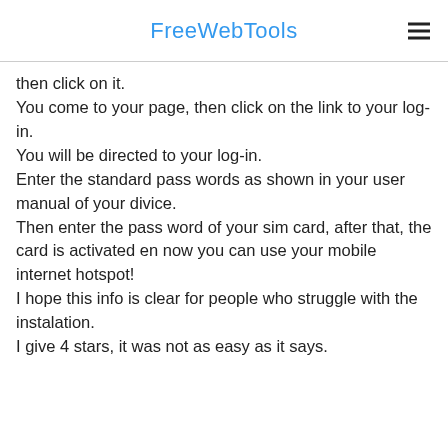FreeWebTools
then click on it.
You come to your page, then click on the link to your log-in.
You will be directed to your log-in.
Enter the standard pass words as shown in your user manual of your divice.
Then enter the pass word of your sim card, after that, the card is activated en now you can use your mobile internet hotspot!
I hope this info is clear for people who struggle with the instalation.
I give 4 stars, it was not as easy as it says.